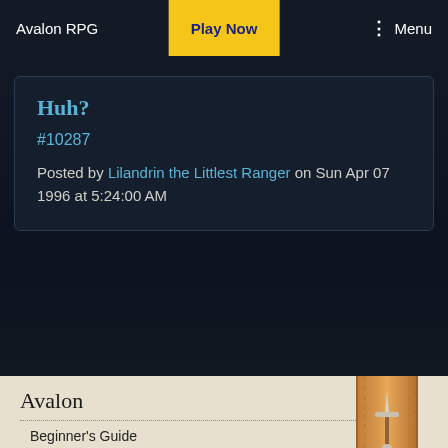Avalon RPG | Play Now | Menu
Huh?
#10287
Posted by Lilandrin the Littlest Ranger on Sun Apr 07 1996 at 5:24:00 AM
Avalon
Beginner's Guide
The World
Timeline
Latest News